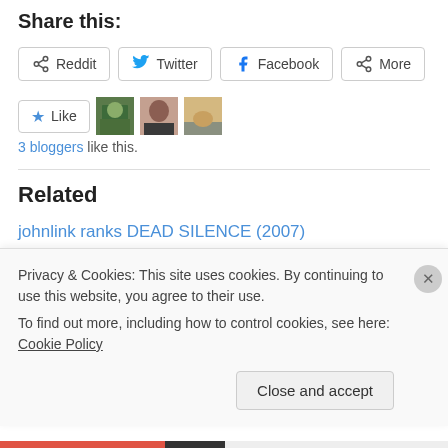Share this:
Reddit | Twitter | Facebook | More
[Figure (other): Like button with star icon, and three blogger avatar thumbnails]
3 bloggers like this.
Related
johnlink ranks DEAD SILENCE (2007)
October 12, 2013
In "~ D ~"
Privacy & Cookies: This site uses cookies. By continuing to use this website, you agree to their use.
To find out more, including how to control cookies, see here: Cookie Policy
Close and accept